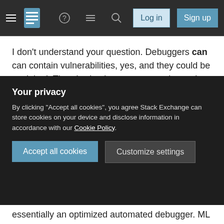Stack Exchange navigation bar with hamburger menu, logo, help, chat, search icons, Log in and Sign up buttons
I don't understand your question. Debuggers can can contain vulnerabilities, yes, and they could be exploited. There's simply no reason to do so: the malware is already running and it cannot count on being debugged to be effective. The program cannot "lie" to a debugger but it could escape it. Most debuggers can hide from most malwares (one common exception being GuLoader) just fine. Note that Emotet is no more modern than any other malware (and has been shut down already), also last time I analyzed it, it didn't have any real polymorphic code (just the usual packer stage). — Margaret Bloom · Jun 13, 2021 at
Your privacy
By clicking "Accept all cookies", you agree Stack Exchange can store cookies on your device and disclose information in accordance with our Cookie Policy.
Accept all cookies
Customize settings
essentially an optimized automated debugger. ML